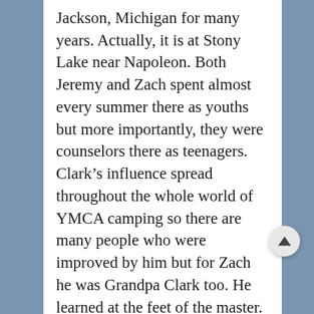Jackson, Michigan for many years. Actually, it is at Stony Lake near Napoleon. Both Jeremy and Zach spent almost every summer there as youths but more importantly, they were counselors there as teenagers. Clark’s influence spread throughout the whole world of YMCA camping so there are many people who were improved by him but for Zach he was Grandpa Clark too. He learned at the feet of the master.
I’m told that when the news of Zach’s death was given to Clark, he was silent for about a minute then he said, “Zach is gone and what he would have